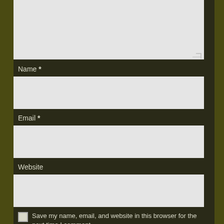[Figure (screenshot): Top portion of a comment form text area (cut off), with resize handle visible at bottom right.]
Name *
[Figure (screenshot): Name input text field (empty, light gray background).]
Email *
[Figure (screenshot): Email input text field (empty, light gray background).]
Website
[Figure (screenshot): Website input text field (empty, light gray background).]
Save my name, email, and website in this browser for the next time I comment.
Submit Comment